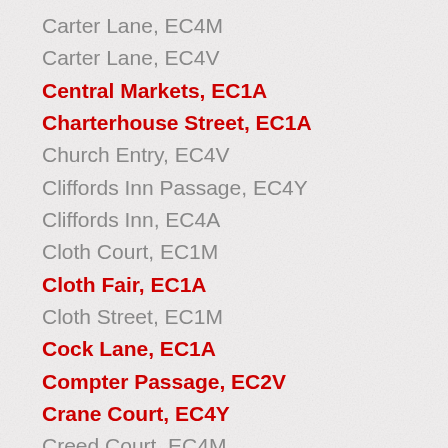Carter Lane, EC4M
Carter Lane, EC4V
Central Markets, EC1A
Charterhouse Street, EC1A
Church Entry, EC4V
Cliffords Inn Passage, EC4Y
Cliffords Inn, EC4A
Cloth Court, EC1M
Cloth Fair, EC1A
Cloth Street, EC1M
Cock Lane, EC1A
Compter Passage, EC2V
Crane Court, EC4Y
Creed Court, EC4M
Creed Lane, EC4V
Crown Office Row, EC4Y
Dean's Court, EC4M
Deans Court, EC4V
Defoe House, EC2Y